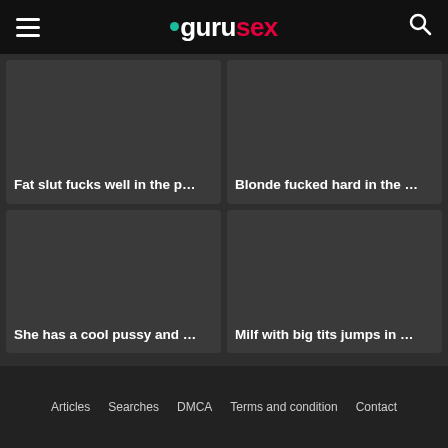gurusex
Fat slut fucks well in the p…
Blonde fucked hard in the …
She has a cool pussy and …
Milf with big tits jumps in …
Articles  Searches  DMCA  Terms and condition  Contact